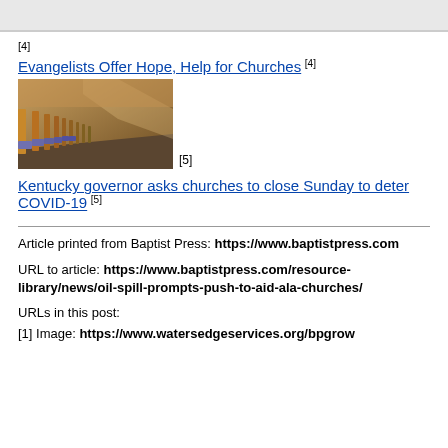[4]
Evangelists Offer Hope, Help for Churches [4]
[Figure (photo): Photo of wooden church pews in a row with blue cushioning, viewed from an angle]
[5]
Kentucky governor asks churches to close Sunday to deter COVID-19 [5]
Article printed from Baptist Press: https://www.baptistpress.com
URL to article: https://www.baptistpress.com/resource-library/news/oil-spill-prompts-push-to-aid-ala-churches/
URLs in this post:
[1] Image: https://www.watersedgeservices.org/bpgrow